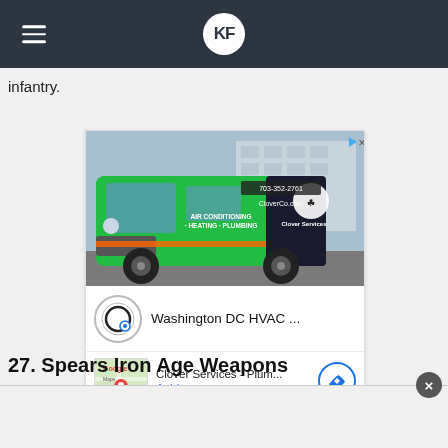KF (logo navigation bar)
infantry.
[Figure (photo): Advertisement showing a green Clover Services HVAC van with phone number 703-352-2761 and website CloverCo.com, with services listed: Air Conditioning, Heating, Plumbing. Below the photo is an ad card showing Washington DC HVAC ... and Clover Services - Plum... located in Ashburn.]
27. Spears Iron Age Weapons